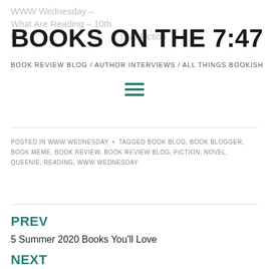WWW Wednesday – What Are Reading – 10th March… in Fiction
BOOKS ON THE 7:47
BOOK REVIEW BLOG / AUTHOR INTERVIEWS / ALL THINGS BOOKISH
[Figure (other): Hamburger menu icon with three horizontal teal lines]
POSTED IN WWW WEDNESDAY • TAGGED BOOK BLOG, BOOK BLOGGER, BOOK MEME, BOOK REVIEW, BOOK REVIEW BLOG, FICTION, NOVEL, QUEENIE, READING, WWW WEDNESDAY
PREV
5 Summer 2020 Books You'll Love
NEXT
Review: The Mystery of Henri Pick by David Foenkinos (Translated by Sam Taylor)